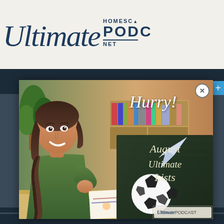[Figure (logo): Ultimate Homeschool Podcast Network logo with italic cursive 'Ultimate' text in dark blue and 'HOMESC PODC NET' block text]
[Figure (photo): Promotional popup image showing a smiling girl with braided hair at a desk with school supplies, overlaid with 'Hurry!' text and a dark chalkboard panel showing 'August Ultimate Lists' in italic script with a soccer ball and paper airplane. UltimatePodcast watermark at bottom right.]